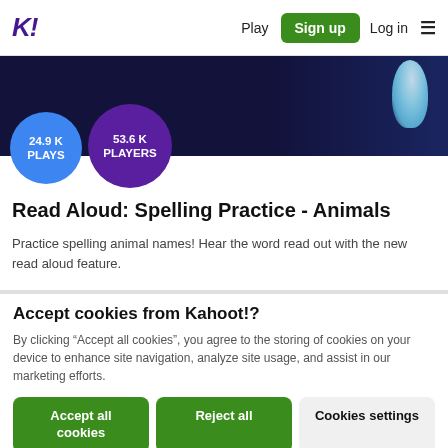K! Play Sign up Log in ≡
[Figure (screenshot): Dark navy banner background with a light blue teardrop/bulb shape on the right side]
24.9 K PLAYS
53.6 K PLAYERS
Read Aloud: Spelling Practice - Animals
Practice spelling animal names! Hear the word read out with the new read aloud feature.
Accept cookies from Kahoot!?
By clicking "Accept all cookies", you agree to the storing of cookies on your device to enhance site navigation, analyze site usage, and assist in our marketing efforts.
Accept all cookies
Reject all
Cookies settings